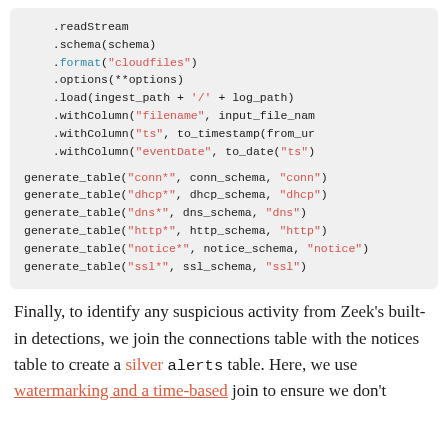[Figure (screenshot): Code block showing Python/PySpark streaming reader and generate_table function calls with syntax highlighting. Lines include .readStream, .schema(schema), .format('cloudfiles'), .options(**options), .load(ingest_path + '/' + log_path), .withColumn('filename', input_file_nam...), .withColumn('ts', to_timestamp(from_ur...)), .withColumn('eventDate', to_date('ts')), and generate_table calls for conn*, dhcp*, dns*, http*, notice*, ssl*.]
Finally, to identify any suspicious activity from Zeek's built-in detections, we join the connections table with the notices table to create a silver alerts table. Here, we use watermarking and a time-based join to ensure we don't